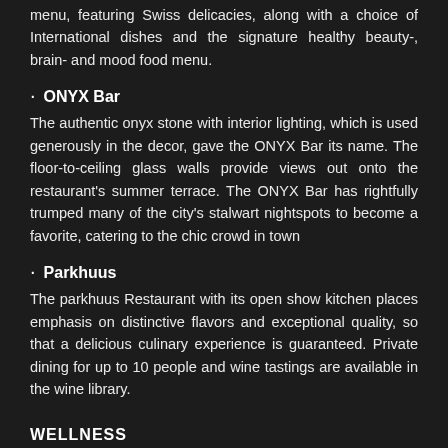menu, featuring Swiss delicacies, along with a choice of International dishes and the signature healthy beauty-, brain- and mood food menu.
• ONYX Bar
The authentic onyx stone with interior lighting, which is used generously in the decor, gave the ONYX Bar its name. The floor-to-ceiling glass walls provide views out onto the restaurant's summer terrace. The ONYX Bar has rightfully trumped many of the city's stalwart nightspots to become a favorite, catering to the chic crowd in town
• Parkhuus
The parkhuus Restaurant with its open show kitchen places emphasis on distinctive flavors and exceptional quality, so that a delicious culinary experience is guaranteed. Private dining for up to 10 people and wine tastings are available in the wine library.
WELLNESS